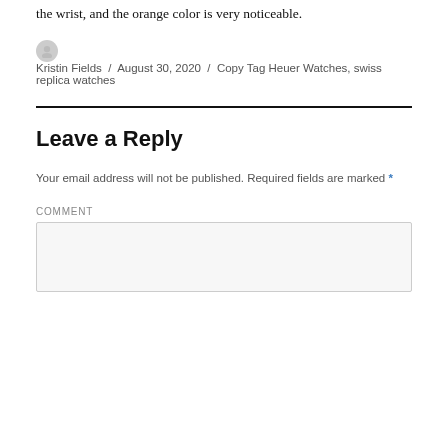the wrist, and the orange color is very noticeable.
Kristin Fields / August 30, 2020 / Copy Tag Heuer Watches, swiss replica watches
Leave a Reply
Your email address will not be published. Required fields are marked *
COMMENT